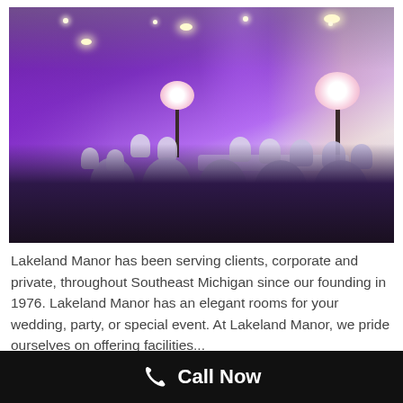[Figure (photo): Interior of a wedding/banquet hall with purple uplighting, white chair covers on round tables, floral centerpieces, chandelier lighting, and draped backdrop.]
Lakeland Manor has been serving clients, corporate and private, throughout Southeast Michigan since our founding in 1976.  Lakeland Manor has an elegant rooms for your wedding, party, or special event. At Lakeland Manor, we pride ourselves on offering facilities...
Call Now